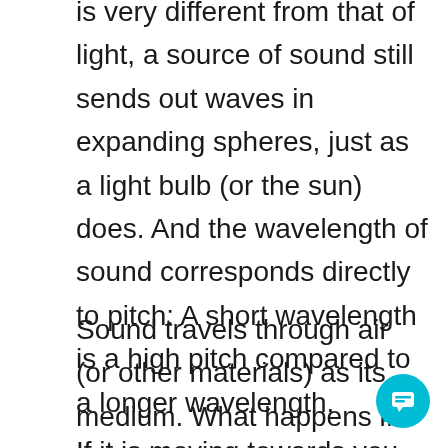is very different from that of light, a source of sound still sends out waves in expanding spheres, just as a light bulb (or the sun) does. And the wavelength of sound corresponds directly to pitch: A short wavelength is a high pitch compared to a longer wavelength.
Sound travels through air (or other materials) as its medium. What happens if the source of sound is moving?
231
If it is moving towards you, at (say) half the speed of sound, then something